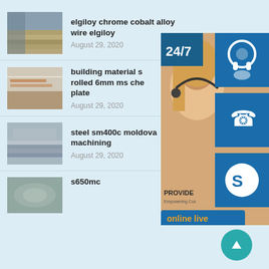elgiloy chrome cobalt alloy wire elgiloy
August 29, 2020
building material s rolled 6mm ms che plate
August 29, 2020
steel sm400c moldova machining
August 29, 2020
s650mc
[Figure (screenshot): Side overlay panel with 24/7 chat support widget showing a female customer service agent, with icons for headset, phone, and Skype. An 'online live' button and a scroll-to-top button are visible.]